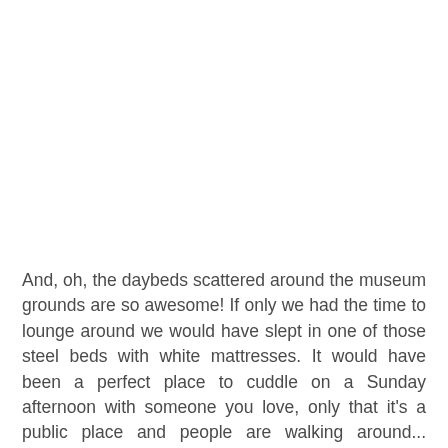And, oh, the daybeds scattered around the museum grounds are so awesome! If only we had the time to lounge around we would have slept in one of those steel beds with white mattresses. It would have been a perfect place to cuddle on a Sunday afternoon with someone you love, only that it's a public place and people are walking around... hahahaha!  Sorry, my mind is all sorts crazy and daydreaming while I'm writing this.  This is what this place turned me into, it brings out the romanticist in me. Oh yeah, and beautiful courtyards reminiscent of old-world Europe are also tucked in some